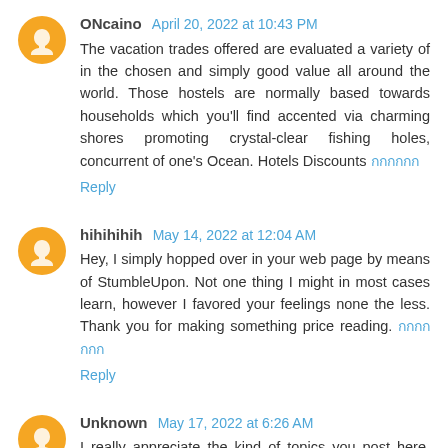ONcaino April 20, 2022 at 10:43 PM
The vacation trades offered are evaluated a variety of in the chosen and simply good value all around the world. Those hostels are normally based towards households which you'll find accented via charming shores promoting crystal-clear fishing holes, concurrent of one's Ocean. Hotels Discounts [Thai text]
Reply
hihihihih May 14, 2022 at 12:04 AM
Hey, I simply hopped over in your web page by means of StumbleUpon. Not one thing I might in most cases learn, however I favored your feelings none the less. Thank you for making something price reading. [Thai text]
Reply
Unknown May 17, 2022 at 6:26 AM
I really appreciate the kind of topics you post here. Thanks